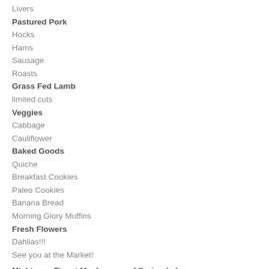Livers
Pastured Pork
Hocks
Hams
Sausage
Roasts
Grass Fed Lamb
limited cuts
Veggies
Cabbage
Cauliflower
Baked Goods
Quiche
Breakfast Cookies
Paleo Cookies
Banana Bread
Morning Glory Muffins
Fresh Flowers
Dahlias!!!
See you at the Market!
Michigans Finest Mushrooms of Spring Lake